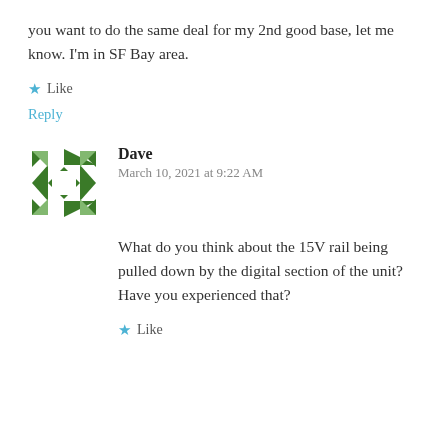you want to do the same deal for my 2nd good base, let me know. I'm in SF Bay area.
★ Like
Reply
[Figure (illustration): Green geometric quilt-pattern avatar icon for user Dave]
Dave
March 10, 2021 at 9:22 AM
What do you think about the 15V rail being pulled down by the digital section of the unit? Have you experienced that?
★ Like